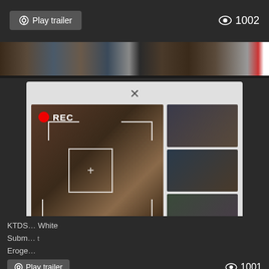[Figure (screenshot): Video website screenshot showing a play trailer button, view count of 1002, thumbnail strip, popup modal with adult video advertisement overlay showing REC indicator, focus box, side thumbnails, and ADS text 'Lilu is uploading video ....' with subtext 'Are u jerking off? Don't stop!', and bottom section with KTDS, White, Subm, Eroge text and play trailer button with view count 1001]